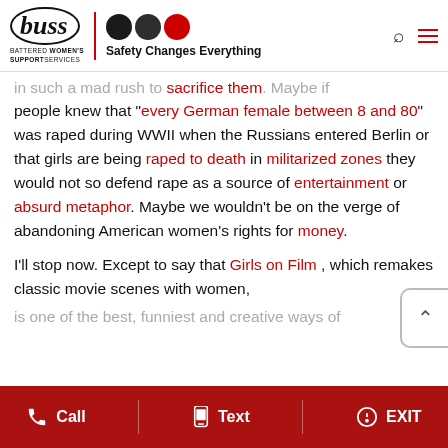buss BATTERED WOMEN'S SUPPORT SERVICES | Safety Changes Everything
in such a mad rush to sacrifice them. Maybe if people knew that "every German female between 8 and 80" was raped during WWII when the Russians entered Berlin or that girls are being raped to death in militarized zones they would not so defend rape as a source of entertainment or absurd metaphor. Maybe we wouldn't be on the verge of abandoning American women's rights for money.
I'll stop now. Except to say that Girls on Film , which remakes classic movie scenes with women, is one of the best, funniest and creative ways of
Call   Text   EXIT